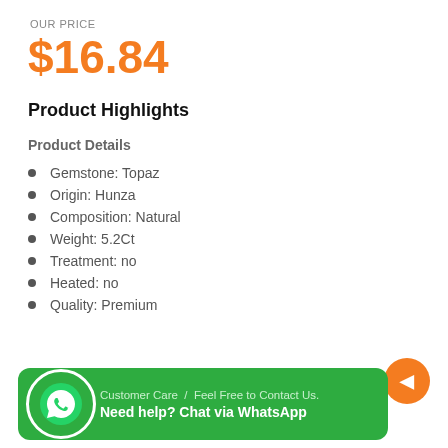OUR PRICE
$16.84
Product Highlights
Product Details
Gemstone: Topaz
Origin: Hunza
Composition: Natural
Weight: 5.2Ct
Treatment: no
Heated: no
Quality: Premium
Order Now & Get FREE Delivery
[Figure (infographic): WhatsApp customer care button bar with green background, WhatsApp logo icon, text 'Customer Care / Feel Free to Contact Us.' and 'Need help? Chat via WhatsApp']